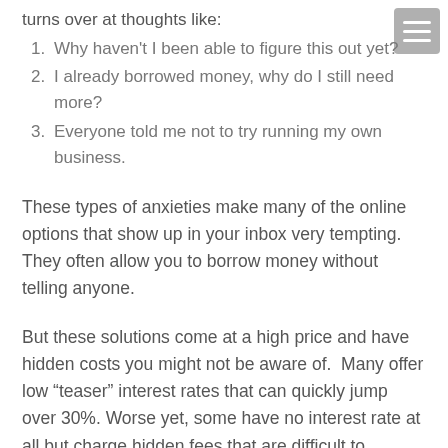turns over at thoughts like:
1. Why haven’t I been able to figure this out yet?
2. I already borrowed money, why do I still need more?
3. Everyone told me not to try running my own business.
These types of anxieties make many of the online options that show up in your inbox very tempting. They often allow you to borrow money without telling anyone.
But these solutions come at a high price and have hidden costs you might not be aware of.  Many offer low “teaser” interest rates that can quickly jump over 30%. Worse yet, some have no interest rate at all but charge hidden fees that are difficult to calculate.  In short, most offer you a band-aid when what you really need is an in-depth physical to figure out